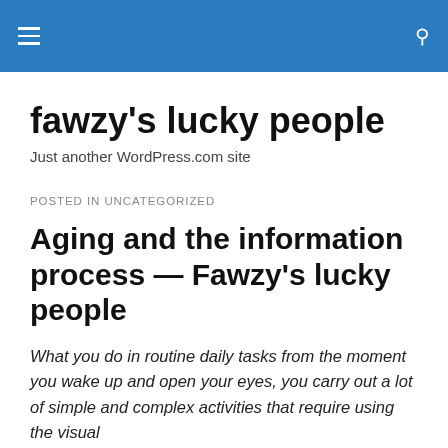fawzy's lucky people — navigation header
fawzy's lucky people
Just another WordPress.com site
POSTED IN UNCATEGORIZED
Aging and the information process — Fawzy's lucky people
What you do in routine daily tasks from the moment you wake up and open your eyes, you carry out a lot of simple and complex activities that require using the visual